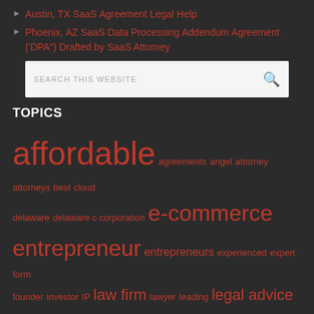Austin, TX SaaS Agreement Legal Help
Phoenix, AZ SaaS Data Processing Addendum Agreement ('DPA") Drafted by SaaS Attorney
TOPICS
affordable agreements angel attorney attorneys best cloud delaware delaware c corporation e-commerce entrepreneur entrepreneurs experienced expert form founder investor IP law firm lawyer leading legal advice legal fees licensing limited liability company llc New Jersey online saas saas attorney saas law firm saas lawyer saas legal advice seed